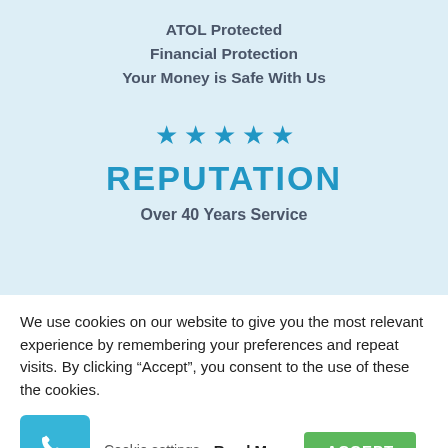ATOL Protected
Financial Protection
Your Money is Safe With Us
[Figure (other): Five blue star icons representing a 5-star reputation rating]
REPUTATION
Over 40 Years Service
We use cookies on our website to give you the most relevant experience by remembering your preferences and repeat visits. By clicking “Accept”, you consent to the use of these the cookies.
Cookie settings  Read More  ACCEPT